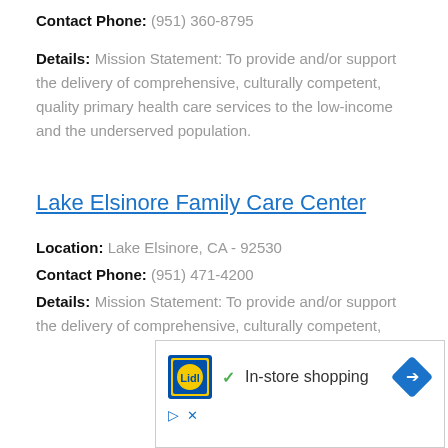Contact Phone: (951) 360-8795
Details: Mission Statement: To provide and/or support the delivery of comprehensive, culturally competent, quality primary health care services to the low-income and the underserved population.
Lake Elsinore Family Care Center
Location: Lake Elsinore, CA - 92530
Contact Phone: (951) 471-4200
Details: Mission Statement: To provide and/or support the delivery of comprehensive, culturally competent,
[Figure (other): Advertisement banner for Lidl showing Lidl logo, checkmark, 'In-store shopping' text, blue diamond arrow, play and close buttons]